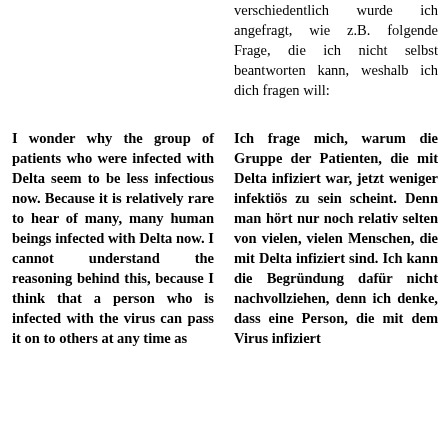verschiedentlich wurde ich angefragt, wie z.B. folgende Frage, die ich nicht selbst beantworten kann, weshalb ich dich fragen will:
I wonder why the group of patients who were infected with Delta seem to be less infectious now. Because it is relatively rare to hear of many, many human beings infected with Delta now. I cannot understand the reasoning behind this, because I think that a person who is infected with the virus can pass it on to others at any time as
Ich frage mich, warum die Gruppe der Patienten, die mit Delta infiziert war, jetzt weniger infektiös zu sein scheint. Denn man hört nur noch relativ selten von vielen, vielen Menschen, die mit Delta infiziert sind. Ich kann die Begründung dafür nicht nachvollziehen, denn ich denke, dass eine Person, die mit dem Virus infiziert